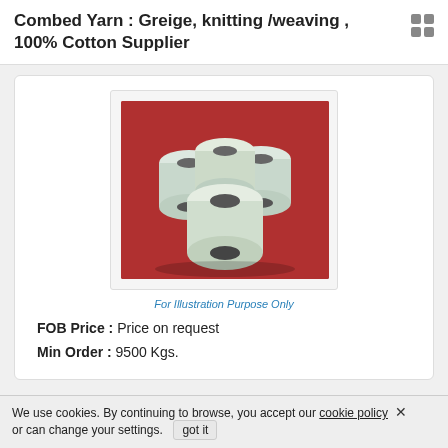Combed Yarn : Greige, knitting /weaving , 100% Cotton Supplier
[Figure (photo): Five spools/cones of white combed cotton yarn arranged on a red background]
For Illustration Purpose Only
FOB Price : Price on request
Min Order : 9500 Kgs.
We use cookies. By continuing to browse, you accept our cookie policy or can change your settings.   got it ×